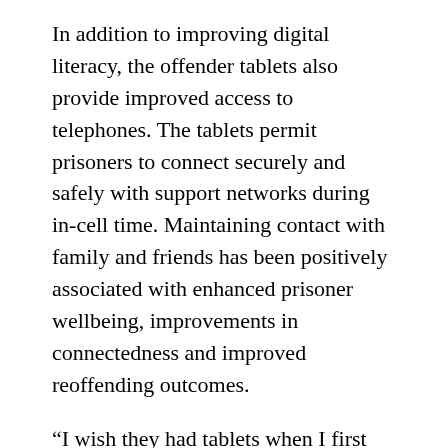In addition to improving digital literacy, the offender tablets also provide improved access to telephones. The tablets permit prisoners to connect securely and safely with support networks during in-cell time. Maintaining contact with family and friends has been positively associated with enhanced prisoner wellbeing, improvements in connectedness and improved reoffending outcomes.
“I wish they had tablets when I first came into custody. I struggled and felt so isolated, lonely, and scared. Now I feel connected to the outside world by keeping in contact with the news and my family, my daughter and Mum. I am thinking about my future, and I am more optimistic about